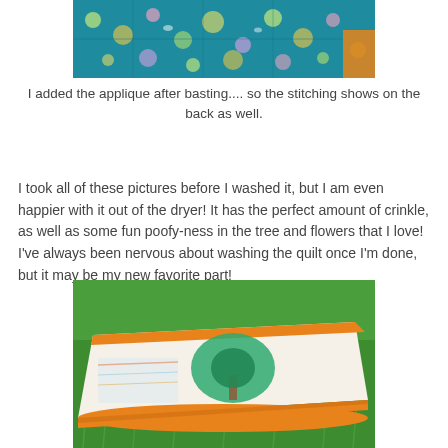[Figure (photo): Close-up of teal floral quilt fabric with colorful flower and circle patterns, showing quilting stitches on the back, with an orange border visible at the bottom right edge, photographed outdoors.]
I added the applique after basting.... so the stitching shows on the back as well.
I took all of these pictures before I washed it, but I am even happier with it out of the dryer! It has the perfect amount of crinkle, as well as some fun poofy-ness in the tree and flowers that I love! I've always been nervous about washing the quilt once I'm done, but it may be my new favorite part!
[Figure (photo): A folded quilt lying on green grass outdoors, showing an orange binding on the edges and an applique design featuring a green circular shape with a tree motif on a white/light background.]